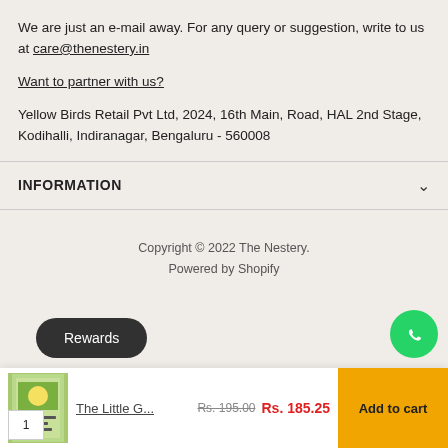We are just an e-mail away. For any query or suggestion, write to us at care@thenestery.in
Want to partner with us?
Yellow Birds Retail Pvt Ltd, 2024, 16th Main, Road, HAL 2nd Stage, Kodihalli, Indiranagar, Bengaluru - 560008
INFORMATION
Copyright © 2022 The Nestery.
Powered by Shopify
The Little G... Rs. 195.00 Rs. 185.25 Add to cart
Rewards
1